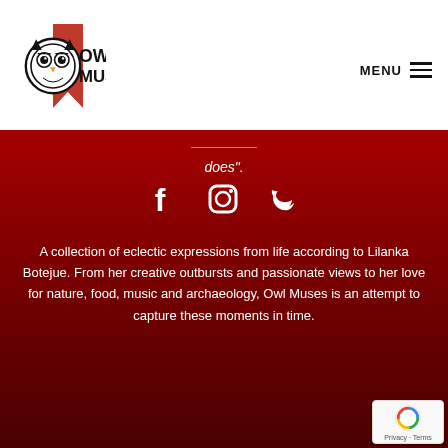[Figure (logo): Owl Muses logo — owl illustration with red chevron/bookmark shape and text OWL MUSES in black]
MENU ☰
does".
[Figure (infographic): Social media icons: Facebook, Instagram, Twitter in white on dark red background]
A collection of eclectic expressions from life according to Lilanka Botejue. From her creative outbursts and passionate views to her love for nature, food, music and archaeology, Owl Muses is an attempt to capture these moments in time.